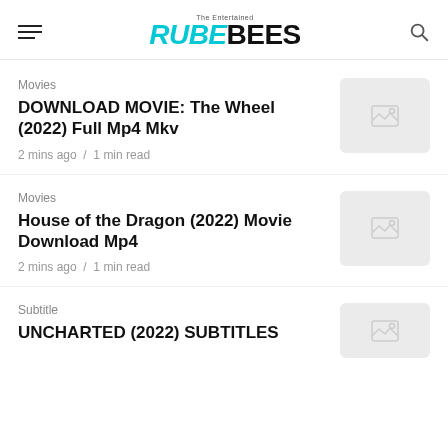RUBEBEES
Movies
DOWNLOAD MOVIE: The Wheel (2022) Full Mp4 Mkv
2 mins ago / 1 min read
Movies
House of the Dragon (2022) Movie Download Mp4
2 mins ago / 1 min read
Subtitle
UNCHARTED (2022) SUBTITLES